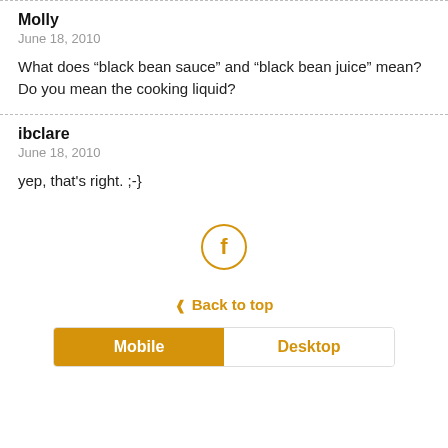Molly
June 18, 2010
What does “black bean sauce” and “black bean juice” mean? Do you mean the cooking liquid?
ibclare
June 18, 2010
yep, that's right. ;-}
[Figure (logo): Facebook icon in a circle, orange outline]
» Back to top
Mobile | Desktop